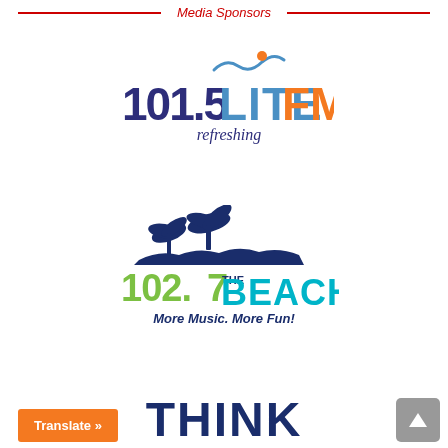Media Sponsors
[Figure (logo): 101.5 LITE FM refreshing radio station logo with wave graphic and orange dot]
[Figure (logo): 102.7 The Beach radio station logo with palm trees and crowd silhouette, tagline: More Music. More Fun!]
[Figure (logo): THINK logo (partial, cut off at bottom)]
Translate »